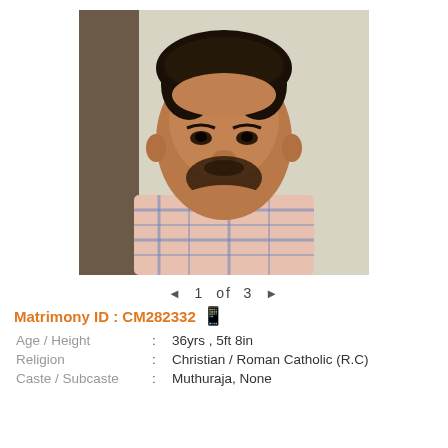[Figure (photo): Portrait photo of a young man with beard wearing a plaid shirt, indoor selfie against a light wall]
◄  1  of  3  ►
Matrimony ID : CM282332
| Age / Height | : | 36yrs , 5ft 8in |
| Religion | : | Christian / Roman Catholic (R.C) |
| Caste / Subcaste | : | Muthuraja, None |